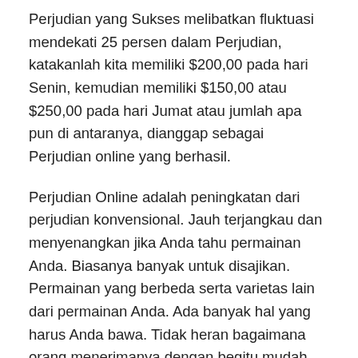Perjudian yang Sukses melibatkan fluktuasi mendekati 25 persen dalam Perjudian, katakanlah kita memiliki $200,00 pada hari Senin, kemudian memiliki $150,00 atau $250,00 pada hari Jumat atau jumlah apa pun di antaranya, dianggap sebagai Perjudian online yang berhasil.
Perjudian Online adalah peningkatan dari perjudian konvensional. Jauh terjangkau dan menyenangkan jika Anda tahu permainan Anda. Biasanya banyak untuk disajikan. Permainan yang berbeda serta varietas lain dari permainan Anda. Ada banyak hal yang harus Anda bawa. Tidak heran bagaimana orang menerimanya dengan begitu mudah.
Menang di mesin slot adalah aspek bagus yang sah. Itu membuat permainan slot benar-benar